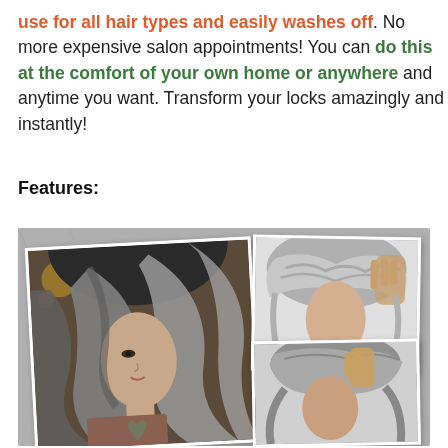use for all hair types and easily washes off. No more expensive salon appointments! You can do this at the comfort of your own home or anywhere and anytime you want. Transform your locks amazingly and instantly!
Features:
[Figure (photo): Collage of three photos showing women with gray/silver styled hair: a large photo on the left of a woman with long dark-to-silver ombre hair and a leaf tattoo, an upper-right photo of short silver wavy hair, and a lower-right photo of a woman with gray hair being touched by her hand.]